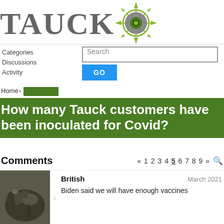[Figure (logo): Tauck logo with compass/gear icon in green and gray text]
Categories  Discussions  Activity  Search  GO
Home › [redacted]
How many Tauck customers have been inoculated for Covid?
Comments  « 1 2 3 4 5 6 7 8 9 »
British
March 2021
Biden said we will have enough vaccines